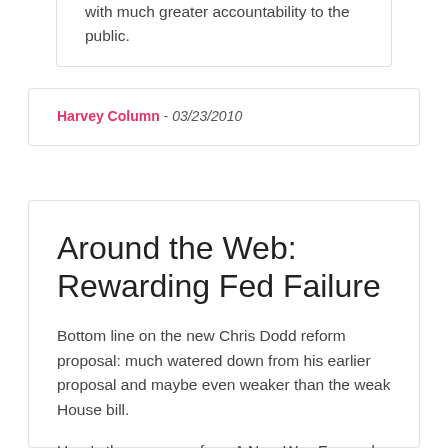with much greater accountability to the public.
Harvey Column - 03/23/2010
Around the Web: Rewarding Fed Failure
Bottom line on the new Chris Dodd reform proposal: much watered down from his earlier proposal and maybe even weaker than the weak House bill.
Here's the summary from A New Way Forward: “The bill contains no real solution to too-big-to-fail, no real enforcement guarantees, the bad guys are off the hook, the financial system will continue to be as big